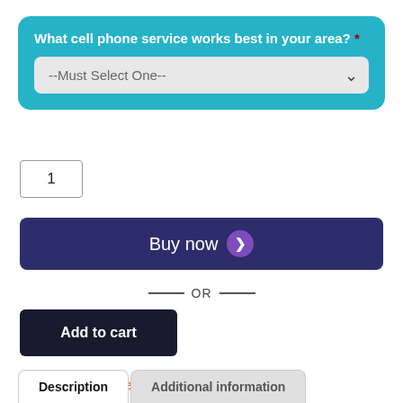What cell phone service works best in your area? *
--Must Select One--
1
Buy now
— OR —
Add to cart
Category: Complete Kits
Description
Additional information